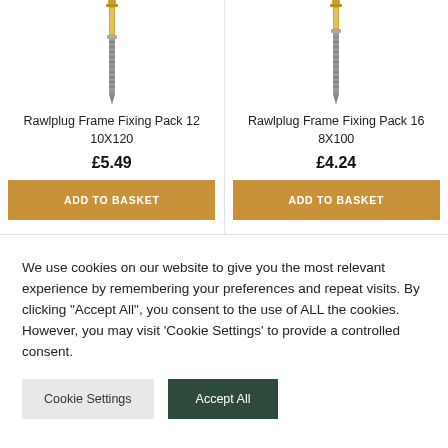[Figure (photo): Product image of Rawlplug Frame Fixing screw, gold/silver color, vertical orientation]
Rawlplug Frame Fixing Pack 12 10X120
£5.49
ADD TO BASKET
[Figure (photo): Product image of Rawlplug Frame Fixing screw, silver color, vertical orientation]
Rawlplug Frame Fixing Pack 16 8X100
£4.24
ADD TO BASKET
We use cookies on our website to give you the most relevant experience by remembering your preferences and repeat visits. By clicking "Accept All", you consent to the use of ALL the cookies. However, you may visit 'Cookie Settings' to provide a controlled consent.
Cookie Settings
Accept All